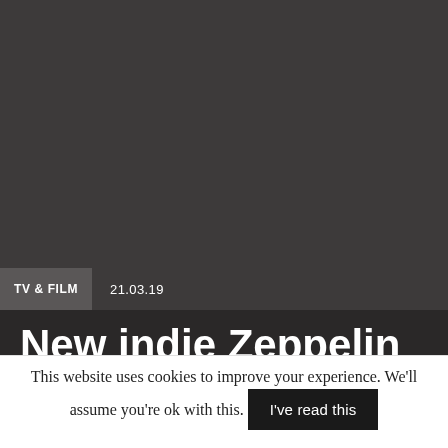[Figure (photo): Dark grey background image area (photo placeholder)]
TV & FILM  21.03.19
New indie Zeppelin bags first orders with
This website uses cookies to improve your experience. We'll assume you're ok with this. I've read this